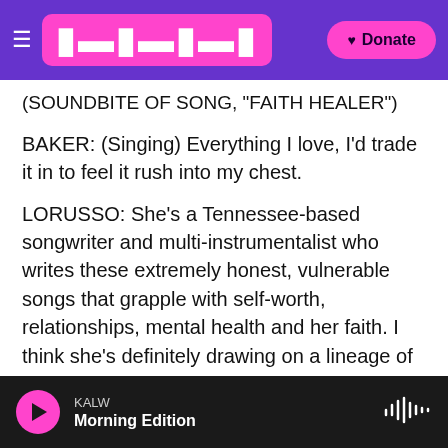KALW — navigation bar with logo and Donate button
(SOUNDBITE OF SONG, "FAITH HEALER")
BAKER: (Singing) Everything I love, I'd trade it in to feel it rush into my chest.
LORUSSO: She's a Tennessee-based songwriter and multi-instrumentalist who writes these extremely honest, vulnerable songs that grapple with self-worth, relationships, mental health and her faith. I think she's definitely drawing on a lineage of bands that she grew up listening to in the early 2000s who combined lyrics about Christianity, which weren't necessarily super straightforward, you wouldn't necessarily know...
KALW — Morning Edition — play button and waveform